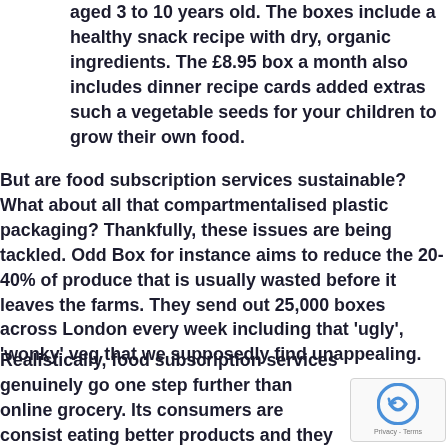aged 3 to 10 years old. The boxes include a healthy snack recipe with dry, organic ingredients. The £8.95 box a month also includes dinner recipe cards added extras such a vegetable seeds for your children to grow their own food.
But are food subscription services sustainable? What about all that compartmentalised plastic packaging? Thankfully, these issues are being tackled. Odd Box for instance aims to reduce the 20-40% of produce that is usually wasted before it leaves the farms. They send out 25,000 boxes across London every week including that 'ugly', 'wonky' veg that we supposedly find unappealing.
Realistically, food subscription services genuinely go one step further than online grocery. Its consumers are consist eating better products and they are hardly inconvenie it. There's no need to whisk up ideas for dinner, desig